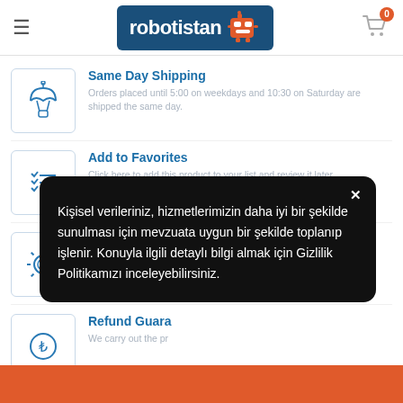robotistan - navigation header with logo and cart
Same Day Shipping
Orders placed until 5:00 on weekdays and 10:30 on Saturday are shipped the same day.
Add to Favorites
Click here to add this product to your list and review it later.
Technical Service
We are always with you with our experienced staff and advanced support services.
Refund Guara...
We carry out the pr...
Kişisel verileriniz, hizmetlerimizin daha iyi bir şekilde sunulması için mevzuata uygun bir şekilde toplanıp işlenir. Konuyla ilgili detaylı bilgi almak için Gizlilik Politikamızı inceleyebilirsiniz.